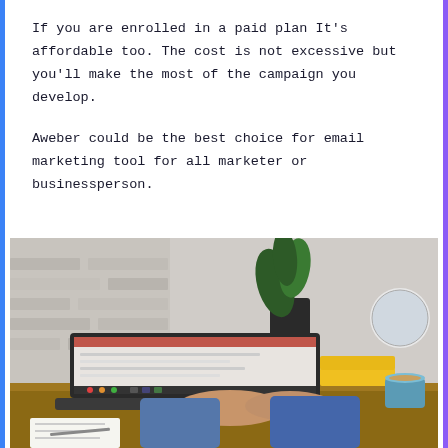If you are enrolled in a paid plan It's affordable too. The cost is not excessive but you'll make the most of the campaign you develop.
Aweber could be the best choice for email marketing tool for all marketer or businessperson.
[Figure (photo): A person typing on a MacBook laptop at a wooden desk. In the background there is a green potted plant, a yellow book, a globe, and a coffee mug. The person is wearing a blue checked shirt.]